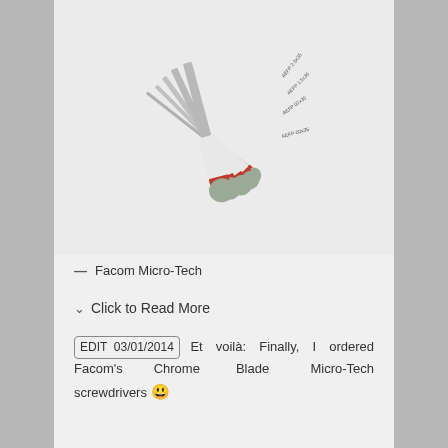[Figure (photo): Five Facom Micro-Tech precision screwdrivers with white handles, gray caps, and red accent rings, fanned out diagonally on a light gray background. The handles are labeled with model codes such as AEFP 2.5x35, AEFP 1.5x35, AEFP 02x35, AEFP-00x35.]
— Facom Micro-Tech
Click to Read More
EDIT 03/01/2014 Et voilà: Finally, I ordered Facom's Chrome Blade Micro-Tech screwdrivers 😃